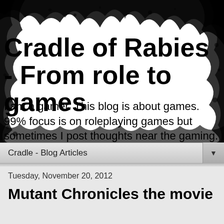[Figure (illustration): Blog header with grunge/splatter black ink border on white background]
Cradle of Rabies - From role to games
I am a gamer. This blog is about games. 99% focus is on roleplaying games but sometimes I post thoughts near the gaming. Vampires, space pirates, lamenting princesses and mutants in the future all welcome!
Cradle - Blog Articles
Tuesday, November 20, 2012
Mutant Chronicles the movie